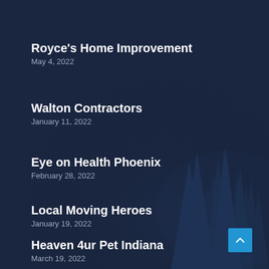Royce's Home Improvement
May 4, 2022
Walton Contractors
January 11, 2022
Eye on Health Phoenix
February 28, 2022
Local Moving Heroes
January 19, 2022
Heaven 4ur Pet Indiana
March 19, 2022